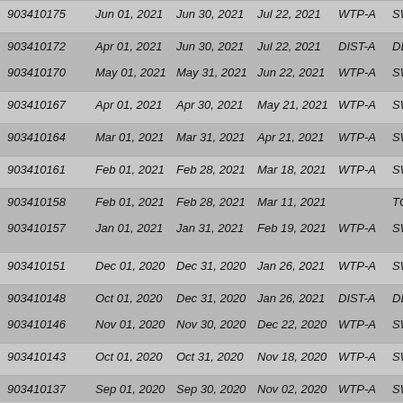| ID | Start Date | End Date | Report Date | Zone | Type | Sub |
| --- | --- | --- | --- | --- | --- | --- |
| 903410175 | Jun 01, 2021 | Jun 30, 2021 | Jul 22, 2021 | WTP-A | SWTR | Mo |
| 903410172 | Apr 01, 2021 | Jun 30, 2021 | Jul 22, 2021 | DIST-A | DBP | DB |
| 903410170 | May 01, 2021 | May 31, 2021 | Jun 22, 2021 | WTP-A | SWTR | Mo |
| 903410167 | Apr 01, 2021 | Apr 30, 2021 | May 21, 2021 | WTP-A | SWTR | Mo |
| 903410164 | Mar 01, 2021 | Mar 31, 2021 | Apr 21, 2021 | WTP-A | SWTR | Mo |
| 903410161 | Feb 01, 2021 | Feb 28, 2021 | Mar 18, 2021 | WTP-A | SWTR | Mo |
| 903410158 | Feb 01, 2021 | Feb 28, 2021 | Mar 11, 2021 |  | TCR | Ro |
| 903410157 | Jan 01, 2021 | Jan 31, 2021 | Feb 19, 2021 | WTP-A | SWTR | Mo |
| 903410151 | Dec 01, 2020 | Dec 31, 2020 | Jan 26, 2021 | WTP-A | SWTR | Mo |
| 903410148 | Oct 01, 2020 | Dec 31, 2020 | Jan 26, 2021 | DIST-A | DBP | DB |
| 903410146 | Nov 01, 2020 | Nov 30, 2020 | Dec 22, 2020 | WTP-A | SWTR | Mo |
| 903410143 | Oct 01, 2020 | Oct 31, 2020 | Nov 18, 2020 | WTP-A | SWTR | Mo |
| 903410137 | Sep 01, 2020 | Sep 30, 2020 | Nov 02, 2020 | WTP-A | SWTR | Mo |